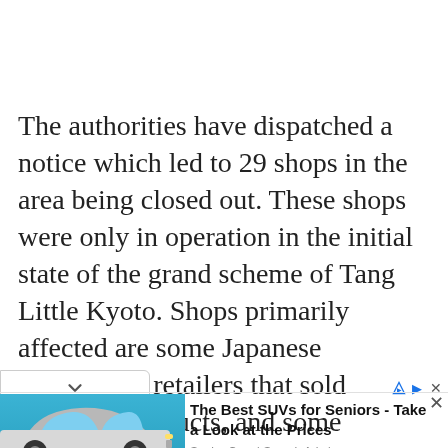The authorities have dispatched a notice which led to 29 shops in the area being closed out. These shops were only in operation in the initial state of the grand scheme of Tang Little Kyoto. Shops primarily affected are some Japanese restaurants, retailers that sold Japanese products, and some electronics.
[Figure (screenshot): Advertisement banner showing a Volvo SUV against a blue background with text 'The Best SUVs for Seniors - Take a Look at the Prices' from Senior Cars | Search Ads]